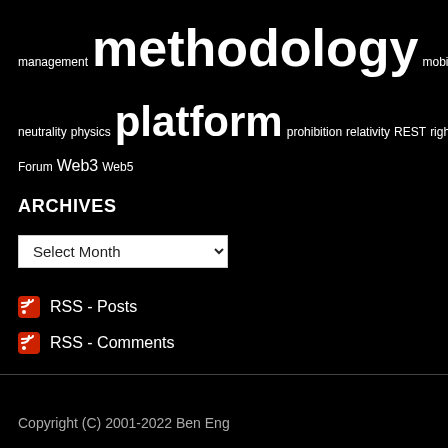management methodology mobile modeling net neutrality physics platform prohibition relativity REST rights robotics SID social tablet TM Forum Web3 Web5
ARCHIVES
Select Month
RSS - Posts
RSS - Comments
Copyright (C) 2001-2022 Ben Eng